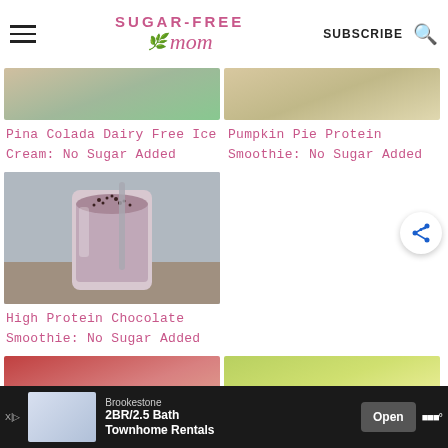Sugar-Free Mom | SUBSCRIBE
[Figure (photo): Partial top image of Pina Colada Dairy Free Ice Cream]
[Figure (photo): Partial top image of Pumpkin Pie Protein Smoothie]
Pina Colada Dairy Free Ice Cream: No Sugar Added
Pumpkin Pie Protein Smoothie: No Sugar Added
[Figure (photo): Chocolate smoothie in a tall glass with chia seeds on top and a metal straw]
High Protein Chocolate Smoothie: No Sugar Added
[Figure (photo): Partial bottom image left - red bowl]
[Figure (photo): Partial bottom image right - green smoothie with seeds]
[Figure (other): Share button icon (circular with plus and dots)]
[Figure (screenshot): Advertisement banner - Brookestone 2BR/2.5 Bath Townhome Rentals with Open button]